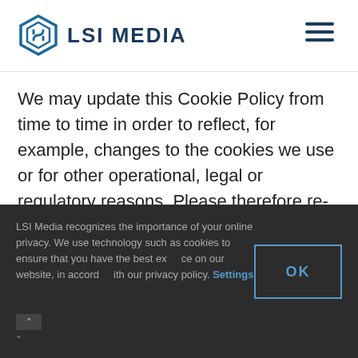[Figure (logo): LSI Media logo with hexagon diamond icon in teal/blue and text 'LSI MEDIA' in dark navy]
We may update this Cookie Policy from time to time in order to reflect, for example, changes to the cookies we use or for other operational, legal or regulatory reasons. Please therefore re-visit this Cookie Policy regularly to stay informed about our use of cookies and related technologies.
LSI Media recognizes the importance of your online privacy. We use technology such as cookies to ensure that you have the best experience on our website, in accordance with our privacy policy. Settings